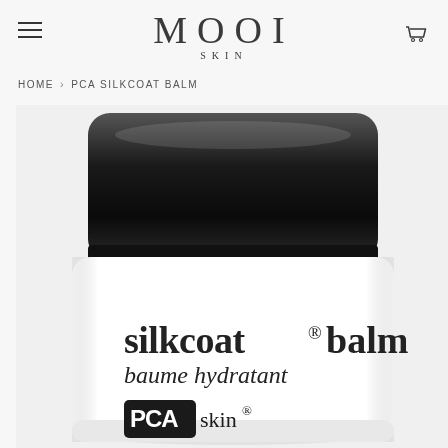MOOI SKIN
HOME › PCA SILKCOAT BALM
[Figure (photo): PCA Skin Silkcoat Balm product jar with black lid. The white jar displays 'silkcoat® balm' in bold and 'baume hydratant' in italic below, with the PCA skin® logo at the bottom.]